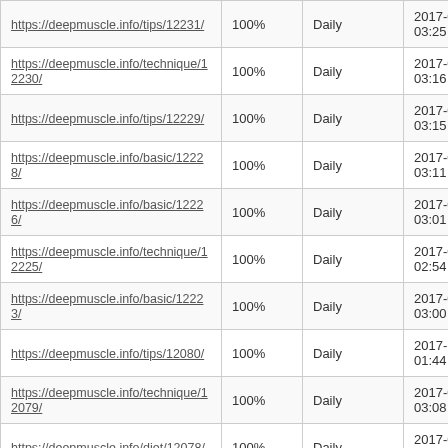| https://deepmuscle.info/tips/12231/ | 100% | Daily | 2017-06-13 03:25 |
| https://deepmuscle.info/technique/12230/ | 100% | Daily | 2017-06-13 03:16 |
| https://deepmuscle.info/tips/12229/ | 100% | Daily | 2017-06-13 03:15 |
| https://deepmuscle.info/basic/12228/ | 100% | Daily | 2017-06-13 03:11 |
| https://deepmuscle.info/basic/12226/ | 100% | Daily | 2017-06-13 03:01 |
| https://deepmuscle.info/technique/12225/ | 100% | Daily | 2017-06-13 02:54 |
| https://deepmuscle.info/basic/12223/ | 100% | Daily | 2017-06-13 03:00 |
| https://deepmuscle.info/tips/12080/ | 100% | Daily | 2017-11-14 01:44 |
| https://deepmuscle.info/technique/12079/ | 100% | Daily | 2017-05-09 03:08 |
| https://deepmuscle.info/diet/12078/ | 100% | Daily | 2017-05-09 03:20 |
| https://deepmuscle.info/topics/12077/ | 100% | Daily | 2017-05-09 02:30 |
| https://deepmuscle.info/tips/12075/ | 100% | Daily | 2017-04-13 01:23 |
|  |  |  | 2017-06-13 |